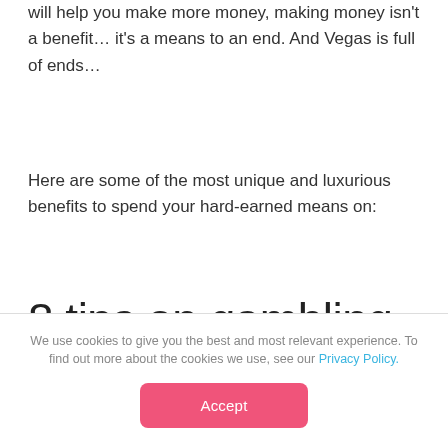will help you make more money, making money isn't a benefit… it's a means to an end. And Vegas is full of ends…
Here are some of the most unique and luxurious benefits to spend your hard-earned means on:
8 tips on gambling
We use cookies to give you the best and most relevant experience. To find out more about the cookies we use, see our Privacy Policy.
Accept